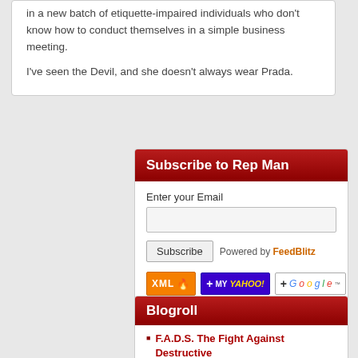in a new batch of etiquette-impaired individuals who don't know how to conduct themselves in a simple business meeting.
I've seen the Devil, and she doesn't always wear Prada.
Subscribe to Rep Man
Enter your Email
Subscribe  Powered by FeedBlitz
[Figure (other): RSS/subscription badges: XML feed badge, My Yahoo badge, Add to Google badge]
Blogroll
F.A.D.S. The Fight Against Destructive